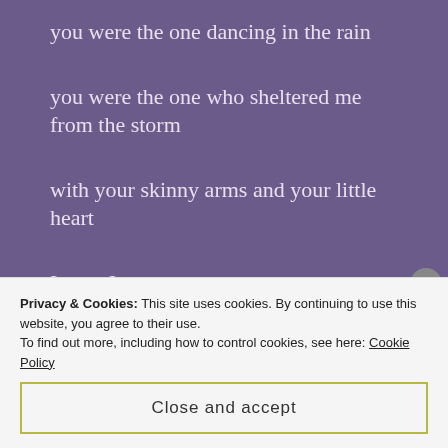you were the one dancing in the rain
you were the one who sheltered me from the storm
with your skinny arms and your little heart
It was I
who burrowed inside your cave and found
the fiery part and claimed it, kept it burning
Privacy & Cookies: This site uses cookies. By continuing to use this website, you agree to their use.
To find out more, including how to control cookies, see here: Cookie Policy
Close and accept